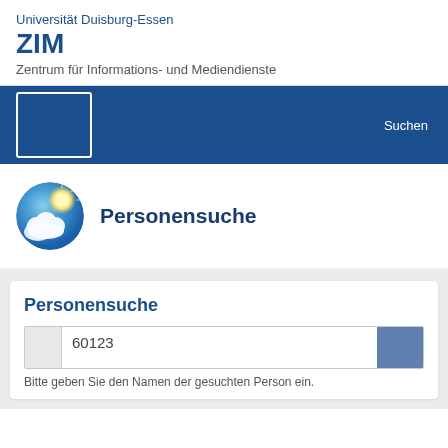Universität Duisburg-Essen
ZIM
Zentrum für Informations- und Mediendienste
[Figure (screenshot): Dark blue navigation bar with a white-bordered rectangle icon on the left and 'Suchen' text on the right]
[Figure (illustration): Circular icon showing blue sky with clouds and sunlight]
Personensuche
Personensuche
60123
Bitte geben Sie den Namen der gesuchten Person ein.